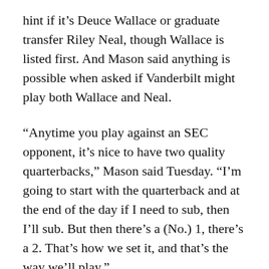hint if it’s Deuce Wallace or graduate transfer Riley Neal, though Wallace is listed first. And Mason said anything is possible when asked if Vanderbilt might play both Wallace and Neal.
“Anytime you play against an SEC opponent, it’s nice to have two quality quarterbacks,” Mason said Tuesday. “I’m going to start with the quarterback and at the end of the day if I need to sub, then I’ll sub. But then there’s a (No.) 1, there’s a 2. That’s how we set it, and that’s the way we’ll play.”
Keeping the quarterback hidden only helps so